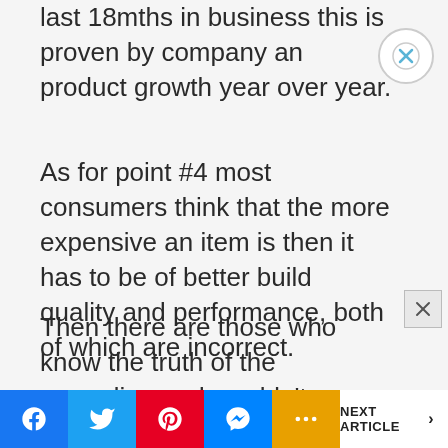last 18mths in business this is proven by company and product growth year over year.
As for point #4 most consumers think that the more expensive an item is then it has to be of better build quality and performance, both of which are incorrect.
Then there are those who know the truth of the preceding and wouldn't
NEXT ARTICLE >